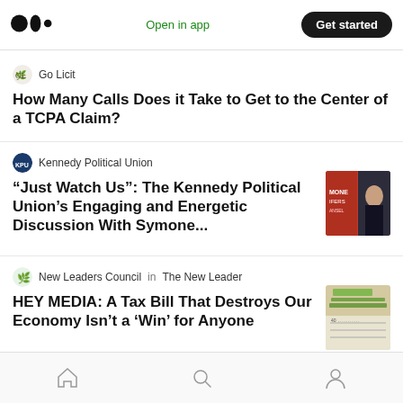Open in app | Get started
Go Licit
How Many Calls Does it Take to Get to the Center of a TCPA Claim?
Kennedy Political Union
“Just Watch Us”: The Kennedy Political Union’s Engaging and Energetic Discussion With Symone...
New Leaders Council in The New Leader
HEY MEDIA: A Tax Bill That Destroys Our Economy Isn’t a ‘Win’ for Anyone
Home | Search | Profile